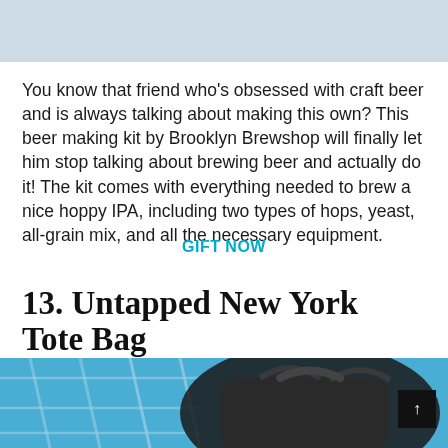[Figure (photo): Light blue/grey banner image at top of page]
You know that friend who's obsessed with craft beer and is always talking about making this own? This beer making kit by Brooklyn Brewshop will finally let him stop talking about brewing beer and actually do it! The kit comes with everything needed to brew a nice hoppy IPA, including two types of hops, yeast, all-grain mix, and all the necessary equipment.
GIFT NOW
13. Untapped New York Tote Bag
[Figure (photo): Photo of a black tote bag against a blue background with metal grid/fence structure visible]